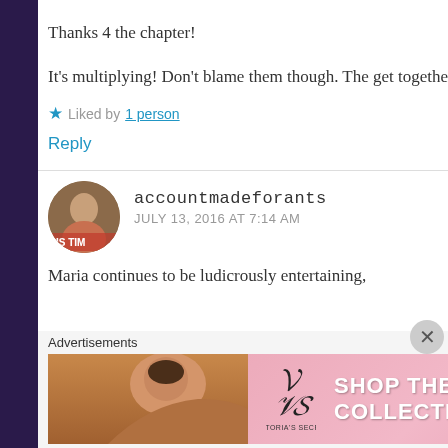Thanks 4 the chapter!
It's multiplying! Don't blame them though. The get together sound BORING.
★ Liked by 1 person
Reply
accountmadeforants
JULY 13, 2016 AT 7:14 AM
Maria continues to be ludicrously entertaining,
Advertisements
[Figure (photo): Victoria's Secret advertisement banner showing a model and 'SHOP THE COLLECTION — SHOP NOW' text with VS logo]